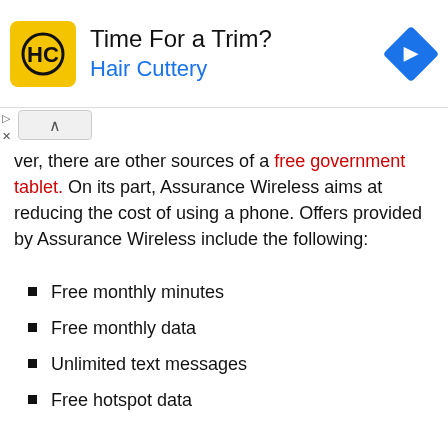[Figure (advertisement): Hair Cuttery ad banner with yellow logo featuring 'HC' initials, text 'Time For a Trim?' and 'Hair Cuttery' in blue, with a blue navigation diamond icon on the right]
ver, there are other sources of a free government tablet. On its part, Assurance Wireless aims at reducing the cost of using a phone. Offers provided by Assurance Wireless include the following:
Free monthly minutes
Free monthly data
Unlimited text messages
Free hotspot data
How To Qualify For Assurance Wireless Free Tablet